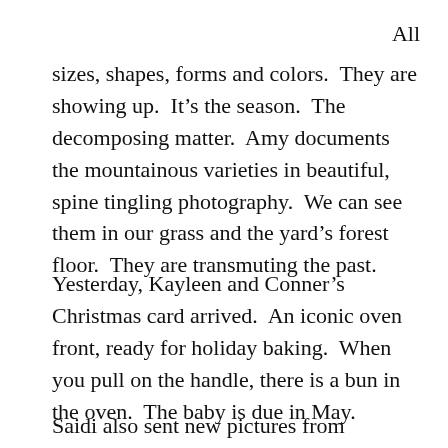All
sizes, shapes, forms and colors.  They are showing up.  It’s the season.  The decomposing matter.  Amy documents the mountainous varieties in beautiful, spine tingling photography.  We can see them in our grass and the yard’s forest floor.  They are transmuting the past.
Yesterday, Kayleen and Conner’s Christmas card arrived.  An iconic oven front, ready for holiday baking.  When you pull on the handle, there is a bun in the oven.  The baby is due in May.
Saidi also sent new pictures from